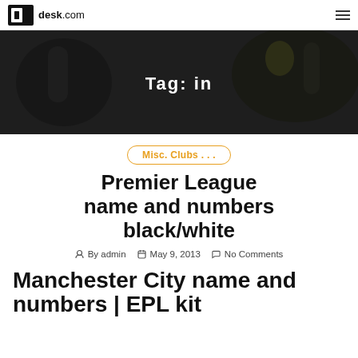desk.com
[Figure (photo): Football/soccer action shot with dark overlay. Tag page banner showing 'Tag: in']
Tag: in
Misc. Clubs . . .
Premier League name and numbers black/white
By admin  May 9, 2013  No Comments
Manchester City name and numbers | EPL kit